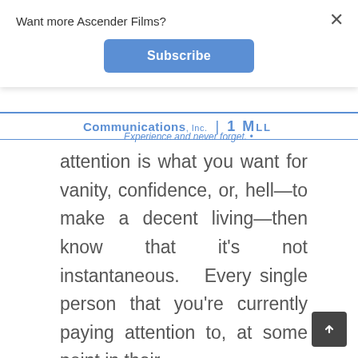Want more Ascender Films?
Subscribe
[Figure (logo): Communications, Inc. logo with tagline 'Experience and never forget.']
attention is what you want for vanity, confidence, or, hell—to make a decent living—then know that it's not instantaneous. Every single person that you're currently paying attention to, at some point in their